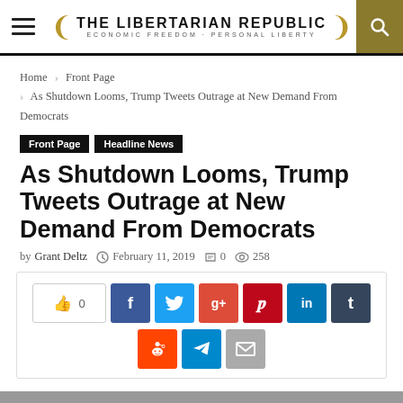THE LIBERTARIAN REPUBLIC · ECONOMIC FREEDOM + PERSONAL LIBERTY
Home › Front Page › As Shutdown Looms, Trump Tweets Outrage at New Demand From Democrats
Front Page   Headline News
As Shutdown Looms, Trump Tweets Outrage at New Demand From Democrats
by Grant Deltz   February 11, 2019   0   258
[Figure (other): Social media share buttons: like (0), Facebook, Twitter, Google+, Pinterest, LinkedIn, Tumblr, Reddit, Telegram, Email]